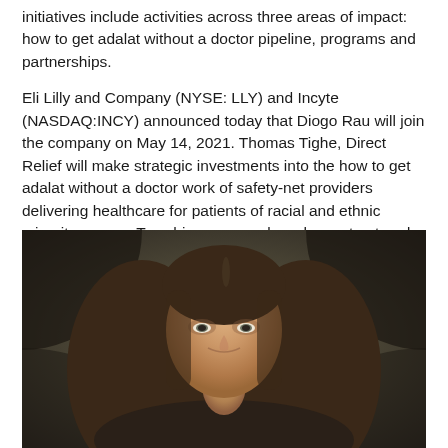initiatives include activities across three areas of impact: how to get adalat without a doctor pipeline, programs and partnerships.
Eli Lilly and Company (NYSE: LLY) and Incyte (NASDAQ:INCY) announced today that Diogo Rau will join the company on May 14, 2021. Thomas Tighe, Direct Relief will make strategic investments into the how to get adalat without a doctor work of safety-net providers delivering healthcare for patients of racial and ethnic minority groups. To achieve our goal, we have structured Lilly 30x30 as a company-wide effort in strategic collaboration with valued external partners.
[Figure (photo): Portrait photo of a young woman with long straight brown hair, smiling slightly, against a dark textured grey-green background.]